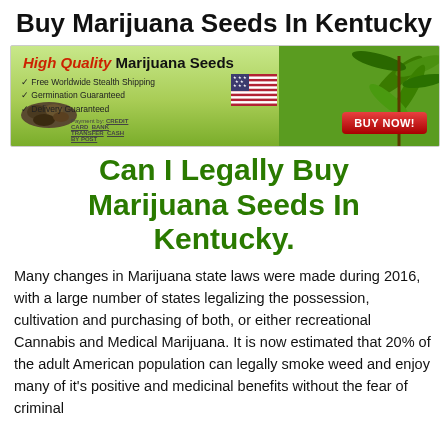Buy Marijuana Seeds In Kentucky
[Figure (infographic): Banner advertisement for High Quality Marijuana Seeds featuring red italic text 'High Quality', checkmarks listing 'Free Worldwide Stealth Shipping', 'Germination Guaranteed', 'Delivery Guaranteed', a US flag, payment options (Credit Card, Bank Transfer, Cash By Post), cannabis plant image, seeds image, and a red BUY NOW button.]
Can I Legally Buy Marijuana Seeds In Kentucky.
Many changes in Marijuana state laws were made during 2016, with a large number of states legalizing the possession, cultivation and purchasing of both, or either recreational Cannabis and Medical Marijuana. It is now estimated that 20% of the adult American population can legally smoke weed and enjoy many of it's positive and medicinal benefits without the fear of criminal